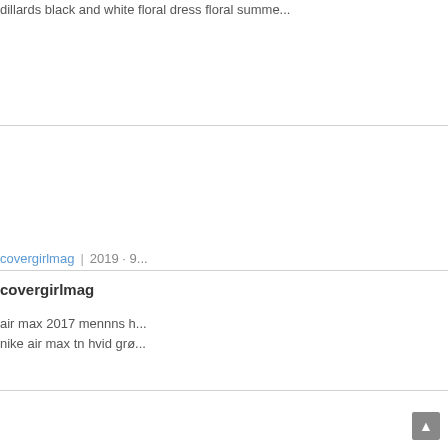dillards black and white floral dress floral summe...
covergirlmag | 2019 · 9...
covergirlmag
air max 2017 mennns h... nike air max tn hvid grø...
zara floral dress long s...
zara floral dress long s...
white floral bodycon mid... dress hollister floral max...
long chiffon floral dres...
long chiffon floral dres...
ax paris black floral lace... navy floral short sleeve...